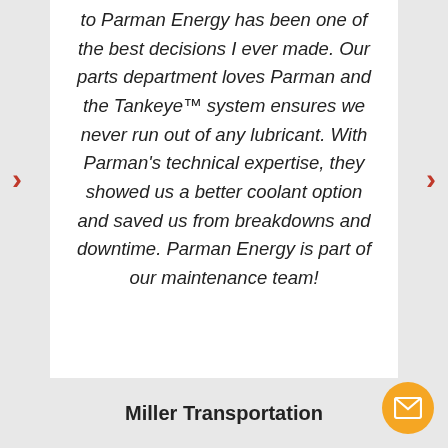to Parman Energy has been one of the best decisions I ever made. Our parts department loves Parman and the Tankeye™ system ensures we never run out of any lubricant. With Parman's technical expertise, they showed us a better coolant option and saved us from breakdowns and downtime. Parman Energy is part of our maintenance team!
Miller Transportation